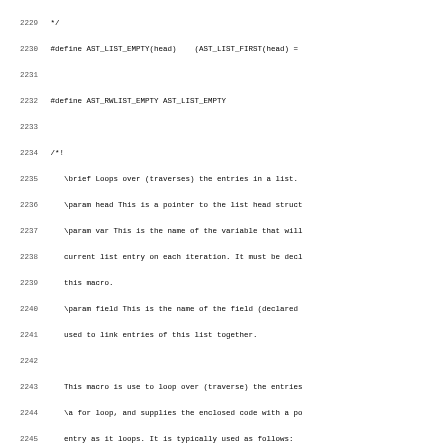Source code listing lines 2229-2260, showing C preprocessor macros and Doxygen documentation for AST list traversal utilities.